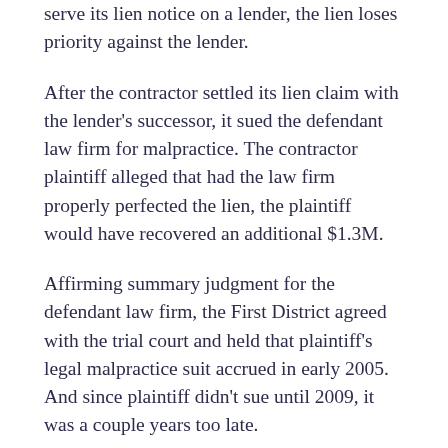serve its lien notice on a lender, the lien loses priority against the lender.
After the contractor settled its lien claim with the lender's successor, it sued the defendant law firm for malpractice. The contractor plaintiff alleged that had the law firm properly perfected the lien, the plaintiff would have recovered an additional $1.3M.
Affirming summary judgment for the defendant law firm, the First District agreed with the trial court and held that plaintiff's legal malpractice suit accrued in early 2005. And since plaintiff didn't sue until 2009, it was a couple years too late.
The Court based its ruling mainly on a foreboding February 2005 letter from plaintiff's second counsel describing a “problematic situation” – the lender wasn't notified of plaintiff's subcontractor lien. The